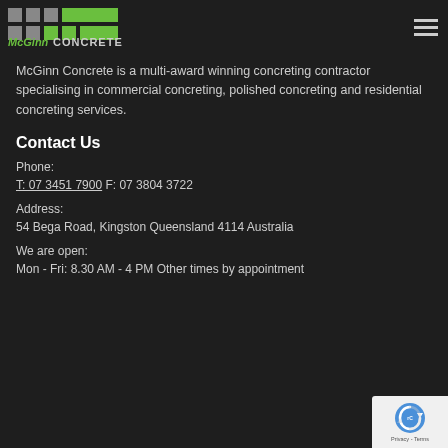[Figure (logo): McGinn Concrete logo with green and grey icon and text]
McGinn Concrete is a multi-award winning concreting contractor specialising in commercial concreting, polished concreting and residential concreting services.
Contact Us
Phone:
T: 07 3451 7900 F: 07 3804 3722
Address:
54 Bega Road, Kingston Queensland 4114 Australia
We are open:
Mon - Fri: 8.30 AM - 4 PM Other times by appointment